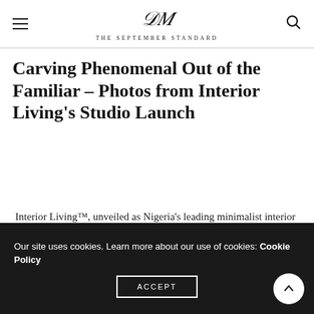THE SEPTEMBER STANDARD
Carving Phenomenal Out of the Familiar – Photos from Interior Living's Studio Launch
Interior Living™, unveiled as Nigeria's leading minimalist interior design company, launched its studio on...
Our site uses cookies. Learn more about our use of cookies: Cookie Policy
ACCEPT